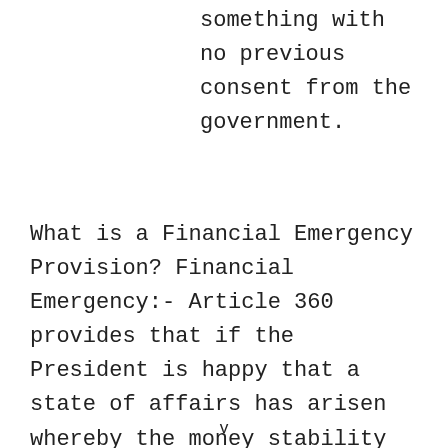something with no previous consent from the government.
What is a Financial Emergency Provision? Financial Emergency:- Article 360 provides that if the President is happy that a state of affairs has arisen whereby the money stability or credit of Republic of India or a part of the territory therefrom is vulnerable, he could by a proclamation
v